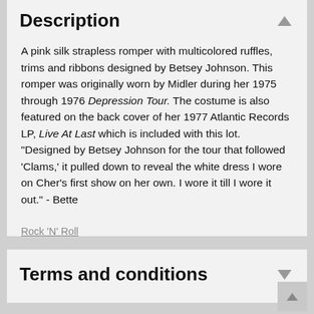Description
A pink silk strapless romper with multicolored ruffles, trims and ribbons designed by Betsey Johnson. This romper was originally worn by Midler during her 1975 through 1976 Depression Tour. The costume is also featured on the back cover of her 1977 Atlantic Records LP, Live At Last which is included with this lot. "Designed by Betsey Johnson for the tour that followed 'Clams,' it pulled down to reveal the white dress I wore on Cher's first show on her own. I wore it till I wore it out." - Bette
Rock 'N' Roll
Terms and conditions